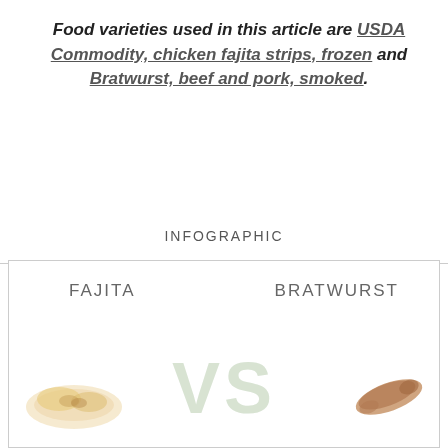Food varieties used in this article are USDA Commodity, chicken fajita strips, frozen and Bratwurst, beef and pork, smoked.
INFOGRAPHIC
[Figure (infographic): Infographic comparing FAJITA vs BRATWURST, with food images and large VS text overlay]